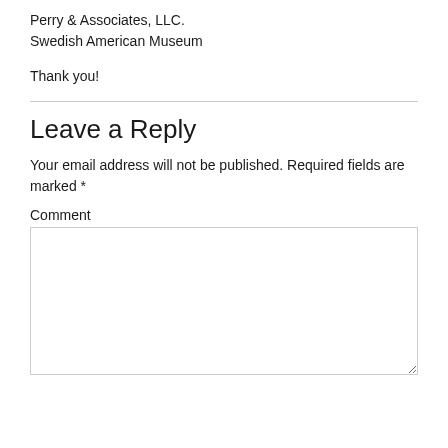Perry & Associates, LLC.
Swedish American Museum
Thank you!
Leave a Reply
Your email address will not be published. Required fields are marked *
Comment